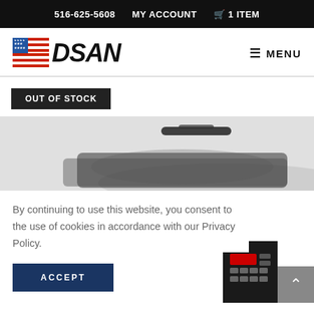516-625-5608   MY ACCOUNT   🛒 1 ITEM
[Figure (logo): DSAN logo with stylized American flag graphic and bold italic DSAN text]
≡ MENU
OUT OF STOCK
[Figure (photo): Blurred product image showing a dark handheld device with a handle, on a light background]
By continuing to use this website, you consent to the use of cookies in accordance with our Privacy Policy.
ACCEPT
[Figure (photo): Small thumbnail of a dark electronic device with red display, bottom right corner]